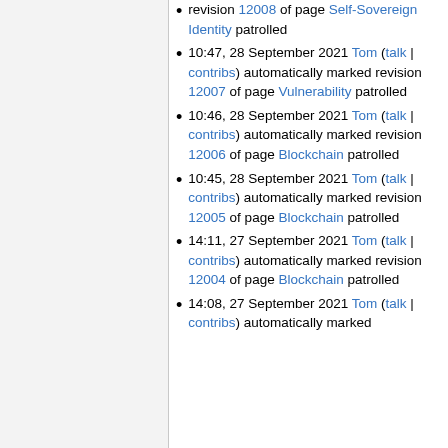revision 12008 of page Self-Sovereign Identity patrolled
10:47, 28 September 2021 Tom (talk | contribs) automatically marked revision 12007 of page Vulnerability patrolled
10:46, 28 September 2021 Tom (talk | contribs) automatically marked revision 12006 of page Blockchain patrolled
10:45, 28 September 2021 Tom (talk | contribs) automatically marked revision 12005 of page Blockchain patrolled
14:11, 27 September 2021 Tom (talk | contribs) automatically marked revision 12004 of page Blockchain patrolled
14:08, 27 September 2021 Tom (talk | contribs) automatically marked